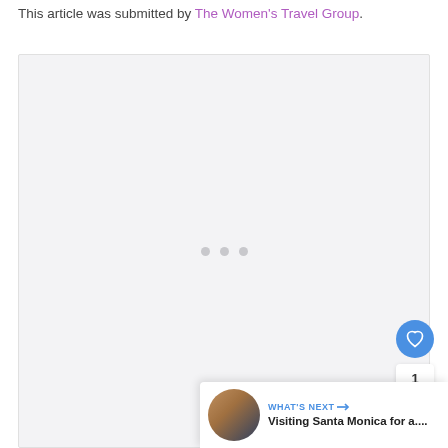This article was submitted by The Women's Travel Group.
[Figure (photo): Large image placeholder with loading dots indicator, light gray background]
[Figure (other): Like button (heart icon) in blue circle, count of 1, share button in blue circle]
WHAT'S NEXT → Visiting Santa Monica for a....